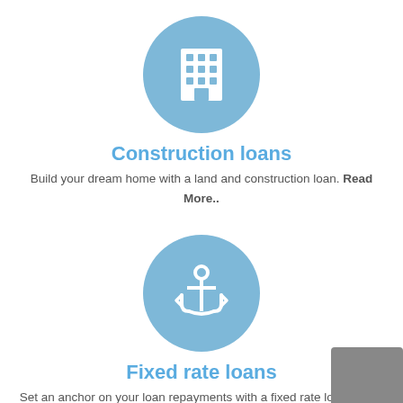[Figure (illustration): Light blue circle with a white building/apartment icon inside]
Construction loans
Build your dream home with a land and construction loan. Read More..
[Figure (illustration): Light blue circle with a white anchor icon inside]
Fixed rate loans
Set an anchor on your loan repayments with a fixed rate loan. Read More..